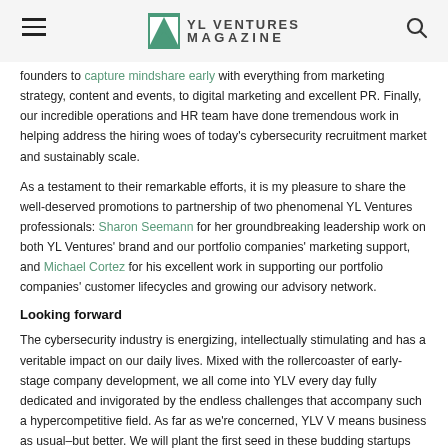YL VENTURES MAGAZINE
founders to capture mindshare early with everything from marketing strategy, content and events, to digital marketing and excellent PR. Finally, our incredible operations and HR team have done tremendous work in helping address the hiring woes of today's cybersecurity recruitment market and sustainably scale.
As a testament to their remarkable efforts, it is my pleasure to share the well-deserved promotions to partnership of two phenomenal YL Ventures professionals: Sharon Seemann for her groundbreaking leadership work on both YL Ventures' brand and our portfolio companies' marketing support, and Michael Cortez for his excellent work in supporting our portfolio companies' customer lifecycles and growing our advisory network.
Looking forward
The cybersecurity industry is energizing, intellectually stimulating and has a veritable impact on our daily lives. Mixed with the rollercoaster of early-stage company development, we all come into YLV every day fully dedicated and invigorated by the endless challenges that accompany such a hypercompetitive field. As far as we're concerned, YLV V means business as usual–but better. We will plant the first seed in these budding startups and continue to support them as they blossom, succeed and shatter their